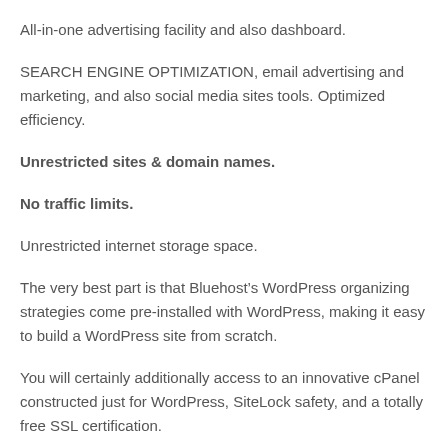All-in-one advertising facility and also dashboard.
SEARCH ENGINE OPTIMIZATION, email advertising and marketing, and also social media sites tools. Optimized efficiency.
Unrestricted sites & domain names.
No traffic limits.
Unrestricted internet storage space.
The very best part is that Bluehost’s WordPress organizing strategies come pre-installed with WordPress, making it easy to build a WordPress site from scratch.
You will certainly additionally access to an innovative cPanel constructed just for WordPress, SiteLock safety, and a totally free SSL certification.